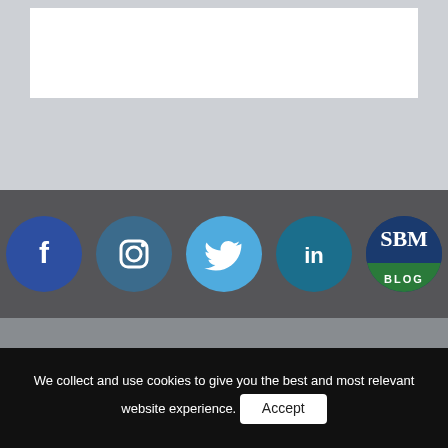[Figure (screenshot): Top section with light grey background and white box area]
[Figure (infographic): Social media icon bar with Facebook, Instagram, Twitter, LinkedIn, and SBM Blog circle icons on dark grey background]
[Figure (infographic): Member Area button with power icon on grey background]
[Figure (infographic): SBM Connect button with globe/cursor icon on grey background]
We collect and use cookies to give you the best and most relevant website experience. Accept